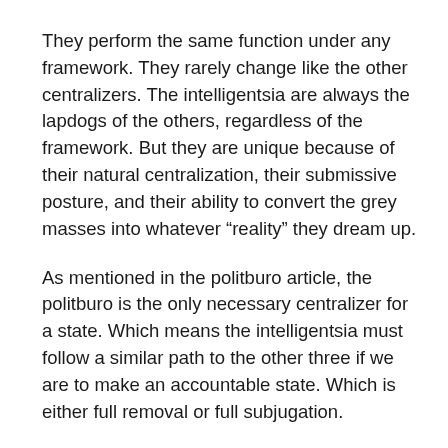They perform the same function under any framework. They rarely change like the other centralizers. The intelligentsia are always the lapdogs of the others, regardless of the framework. But they are unique because of their natural centralization, their submissive posture, and their ability to convert the grey masses into whatever “reality” they dream up.
As mentioned in the politburo article, the politburo is the only necessary centralizer for a state. Which means the intelligentsia must follow a similar path to the other three if we are to make an accountable state. Which is either full removal or full subjugation.
The intelligentsia is a unique problem. Given their submissive nature, most nationalists overlook their